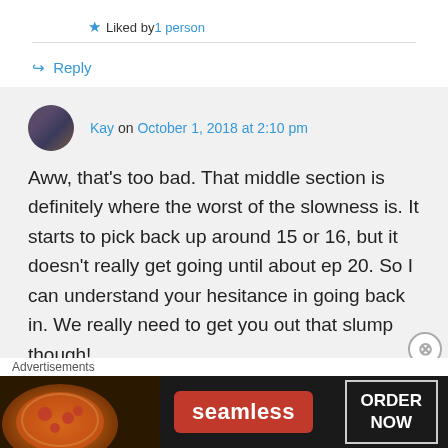★ Liked by 1 person
↪ Reply
Kay on October 1, 2018 at 2:10 pm
Aww, that's too bad. That middle section is definitely where the worst of the slowness is. It starts to pick back up around 15 or 16, but it doesn't really get going until about ep 20. So I can understand your hesitance in going back in. We really need to get you out that slump though!
Advertisements
[Figure (screenshot): Seamless food delivery advertisement banner showing pizza and 'ORDER NOW' button]